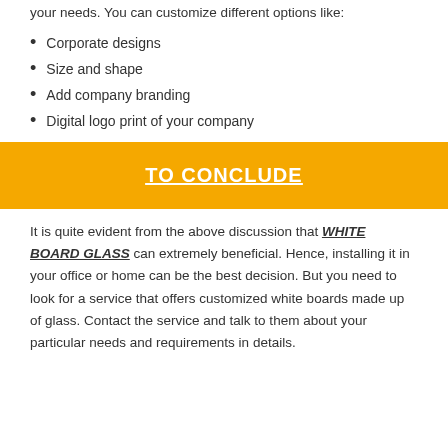your needs. You can customize different options like:
Corporate designs
Size and shape
Add company branding
Digital logo print of your company
TO CONCLUDE
It is quite evident from the above discussion that WHITE BOARD GLASS can extremely beneficial. Hence, installing it in your office or home can be the best decision. But you need to look for a service that offers customized white boards made up of glass. Contact the service and talk to them about your particular needs and requirements in details.